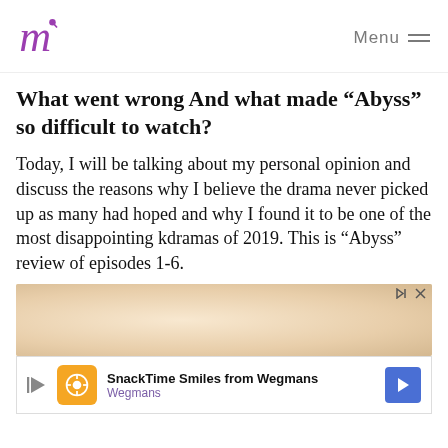Menu
What went wrong And what made "Abyss" so difficult to watch?
Today, I will be talking about my personal opinion and discuss the reasons why I believe the drama never picked up as many had hoped and why I found it to be one of the most disappointing kdramas of 2019. This is “Abyss” review of episodes 1-6.
[Figure (photo): Partial photo of a person visible at top of advertisement area]
[Figure (infographic): Advertisement banner for SnackTime Smiles from Wegmans with orange logo, play button, and blue arrow button]